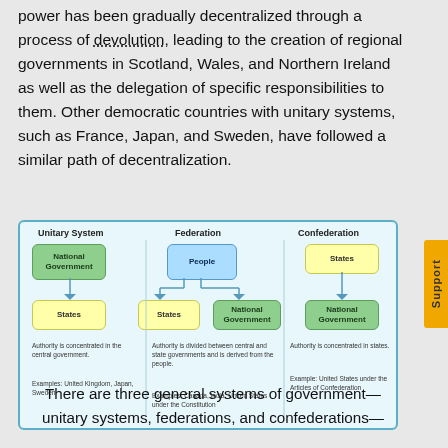power has been gradually decentralized through a process of devolution, leading to the creation of regional governments in Scotland, Wales, and Northern Ireland as well as the delegation of specific responsibilities to them. Other democratic countries with unitary systems, such as France, Japan, and Sweden, have followed a similar path of decentralization.
[Figure (flowchart): Diagram comparing three systems of government: Unitary System (National Government → States), Federation (People → States and National Government), and Confederation (States → National Government). Includes captions about authority concentration and examples.]
There are three general systems of government—unitary systems, federations, and confederations—